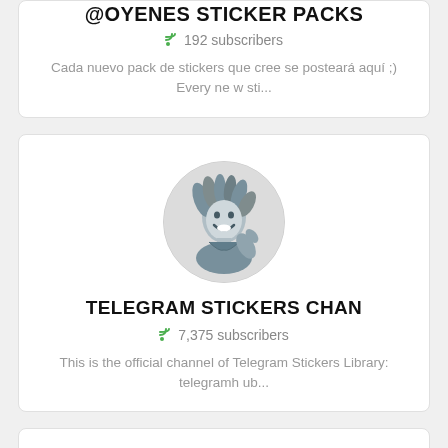@CYENES STICKER PACKS
192 subscribers
Cada nuevo pack de stickers que cree se posteará aquí ;) Every ne w sti...
[Figure (illustration): Circular avatar image showing an illustrated person with dreadlocks laughing and giving a thumbs up, in a blue-grey sketch style]
TELEGRAM STICKERS CHAN
7,375 subscribers
This is the official channel of Telegram Stickers Library: telegramhub...